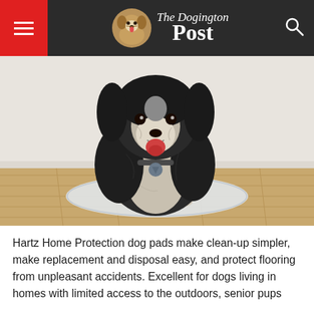The Dogington Post
[Figure (photo): A fluffy black and white Shih Tzu dog sitting on a white dog training pad on a wooden floor, looking at camera with mouth open, wearing a bone-shaped dog tag.]
Hartz Home Protection dog pads make clean-up simpler, make replacement and disposal easy, and protect flooring from unpleasant accidents. Excellent for dogs living in homes with limited access to the outdoors, senior pups